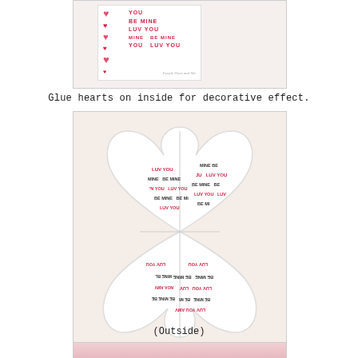[Figure (photo): Photo of a Valentine's Day card with red hearts and text reading 'BE MINE', 'LUV YOU', 'MINE BE MINE', 'YOU LUV YOU' with watermark 'Purple Hues and Me']
Glue hearts on inside for decorative effect.
[Figure (photo): Photo of a folded paper craft shaped like four interlocking hearts (open/flat view) with Valentine text inside: 'LUV YOU', 'BE MINE', 'MINE', 'LUV YOU' repeated in pink and dark red]
(Outside)
[Figure (photo): Partially visible bottom photo showing the outside of the Valentine heart craft with pink/red hearts visible]